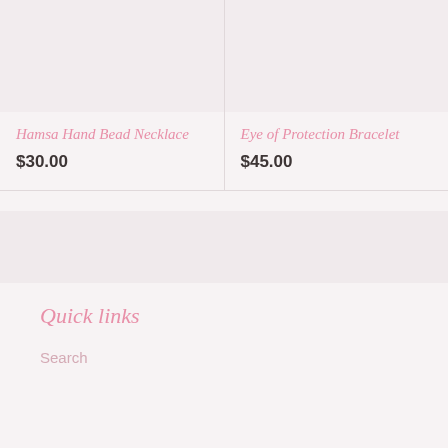[Figure (photo): Product image placeholder for Hamsa Hand Bead Necklace]
Hamsa Hand Bead Necklace
$30.00
[Figure (photo): Product image placeholder for Eye of Protection Bracelet]
Eye of Protection Bracelet
$45.00
[Figure (photo): Footer image placeholder area]
Quick links
Search